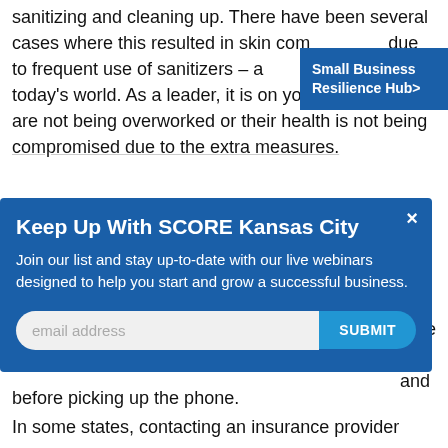sanitizing and cleaning up. There have been several cases where this resulted in skin com... due to frequent use of sanitizers – a... today's world. As a leader, it is on you to ensure they are not being overworked or their health is not being compromised due to the extra measures.
[Figure (other): Small Business Resilience Hub button (blue rectangle, top right)]
[Figure (other): Modal popup: Keep Up With SCORE Kansas City. Blue background with email signup form and SUBMIT button.]
before picking up the phone.
In some states, contacting an insurance provider even if it is not to claim insurance has to be done...